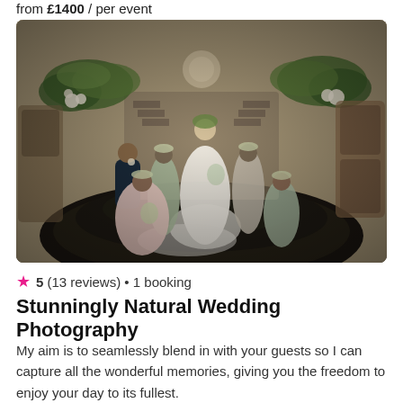from £1400 / per event
[Figure (photo): Wedding photo showing a bride in a white gown with a long veil standing on decorative steps, surrounded by bridesmaids in pastel dresses and a groomsman, with floral greenery decorations in an ornate interior setting.]
★ 5 (13 reviews) • 1 booking
Stunningly Natural Wedding Photography
My aim is to seamlessly blend in with your guests so I can capture all the wonderful memories, giving you the freedom to enjoy your day to its fullest.
from £375 / per event